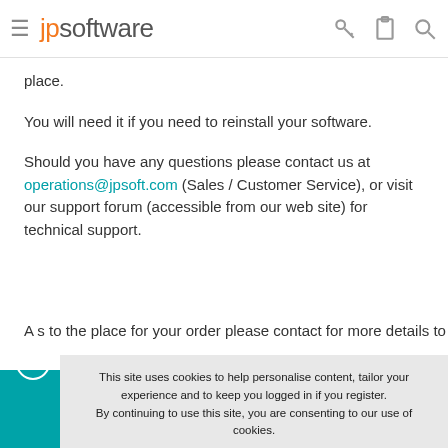jpsoftware
place.
You will need it if you need to reinstall your software.
Should you have any questions please contact us at operations@jpsoft.com (Sales / Customer Service), or visit our support forum (accessible from our web site) for technical support.
This site uses cookies to help personalise content, tailor your experience and to keep you logged in if you register. By continuing to use this site, you are consenting to our use of cookies.